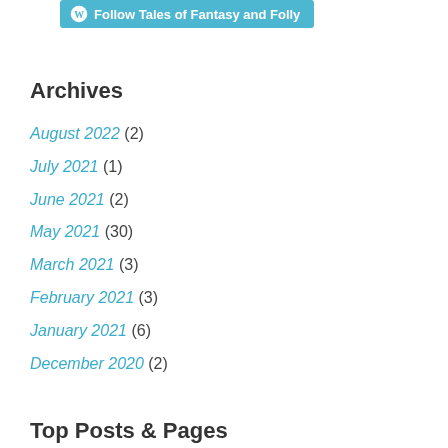[Figure (logo): WordPress follow button reading 'Follow Tales of Fantasy and Folly' with WordPress logo icon, teal/cyan background]
Archives
August 2022 (2)
July 2021 (1)
June 2021 (2)
May 2021 (30)
March 2021 (3)
February 2021 (3)
January 2021 (6)
December 2020 (2)
Top Posts & Pages